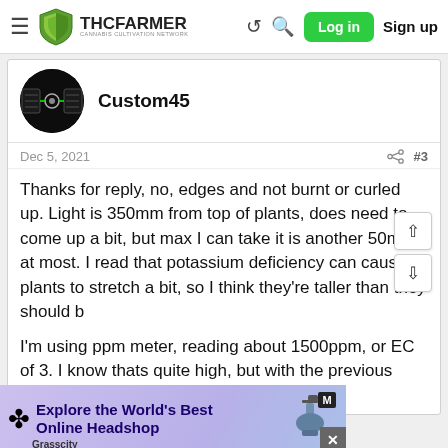THC FARMER — Cannabis Cultivation Network — Log in — Sign up
Custom45
Dec 5, 2021  #3
Thanks for reply, no, edges and not burnt or curled up. Light is 350mm from top of plants, does need to come up a bit, but max I can take it is another 50mm at most. I read that potassium deficiency can caused plants to stretch a bit, so I think they're taller than they should be
I'm using ppm meter, reading about 1500ppm, or EC of 3. I know thats quite high, but with the previous deficiencies
[Figure (screenshot): Grasscity advertisement banner: Explore the World's Best Online Headshop]